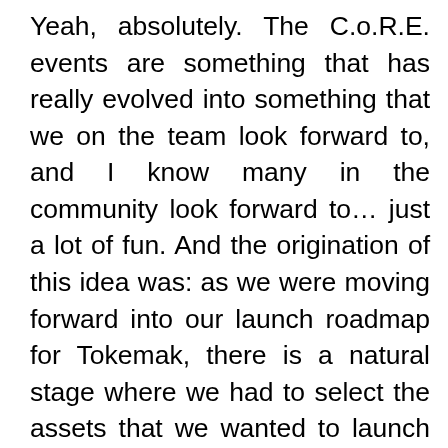Yeah, absolutely. The C.o.R.E. events are something that has really evolved into something that we on the team look forward to, and I know many in the community look forward to… just a lot of fun. And the origination of this idea was: as we were moving forward into our launch roadmap for Tokemak, there is a natural stage where we had to select the assets that we wanted to launch with. And of course, that's a subset of assets that we wanted to keep relatively constrained as we kind of built out the system and ensure everything works the way we want it to. And as we were having discussions about which assets would be the right fit for us to go to market with, the question arose: why are we the ones that are making this decision? This does seem to be the perfect kind of opportunity, even if we're very early to open up to our community. So